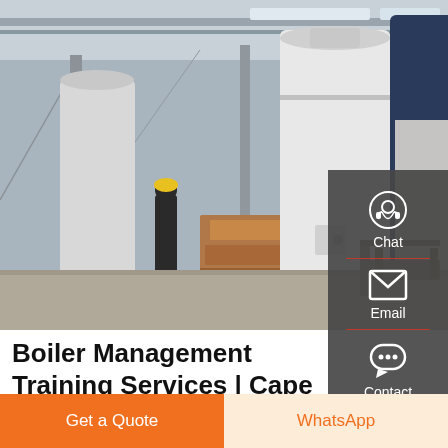[Figure (photo): Industrial warehouse/factory floor showing boilers and industrial equipment. Workers in hard hats visible, large white and blue cylindrical boilers in foreground, factory ceiling with overhead cranes visible.]
Boiler Management Training Services | Cape Town | Northern ...
42 Years boiler experience. 5 Years shift supervisor – boilers and power house (sugar mill) as well as boiler ...
Get a Quote
WhatsApp